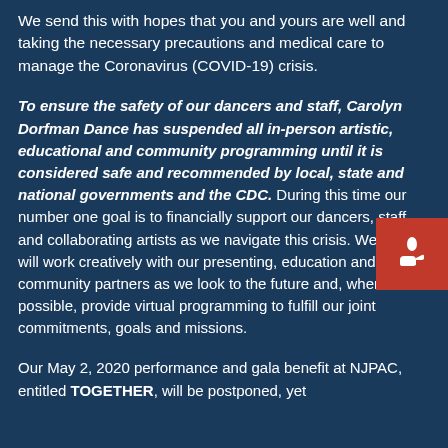We send this with hopes that you and yours are well and taking the necessary precautions and medical care to manage the Coronavirus (COVID-19) crisis.
To ensure the safety of our dancers and staff, Carolyn Dorfman Dance has suspended all in-person artistic, educational and community programming until it is considered safe and recommended by local, state and national governments and the CDC. During this time our number one goal is to financially support our dancers, staff and collaborating artists as we navigate this crisis. We also will work creatively with our presenting, education and community partners as we look to the future and, where possible, provide virtual programming to fulfill our joint commitments, goals and missions.
Our May 2, 2020 performance and gala benefit at NJPAC, entitled TOGETHER, will be postponed, yet